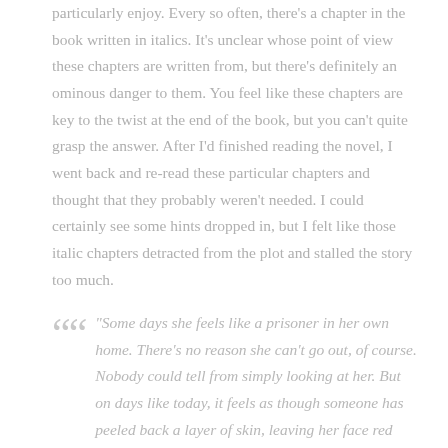particularly enjoy. Every so often, there's a chapter in the book written in italics. It's unclear whose point of view these chapters are written from, but there's definitely an ominous danger to them. You feel like these chapters are key to the twist at the end of the book, but you can't quite grasp the answer. After I'd finished reading the novel, I went back and re-read these particular chapters and thought that they probably weren't needed. I could certainly see some hints dropped in, but I felt like those italic chapters detracted from the plot and stalled the story too much.
“Some days she feels like a prisoner in her own home. There’s no reason she can’t go out, of course. Nobody could tell from simply looking at her. But on days like today, it feels as though someone has peeled back a layer of skin, leaving her face red raw, offering no protection from